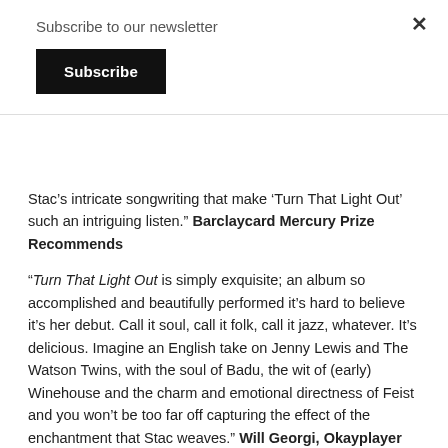Subscribe to our newsletter
Subscribe
Stac’s intricate songwriting that make ‘Turn That Light Out’ such an intriguing listen.” Barclaycard Mercury Prize Recommends
“Turn That Light Out is simply exquisite; an album so accomplished and beautifully performed it’s hard to believe it’s her debut. Call it soul, call it folk, call it jazz, whatever. It’s delicious. Imagine an English take on Jenny Lewis and The Watson Twins, with the soul of Badu, the wit of (early) Winehouse and the charm and emotional directness of Feist and you won’t be too far off capturing the effect of the enchantment that Stac weaves.” Will Georgi, Okayplayer